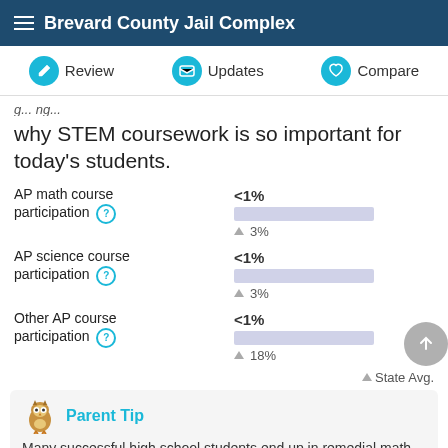Brevard County Jail Complex
Review | Updates | Compare
why STEM coursework is so important for today's students.
AP math course participation <1%  ▲ 3%
AP science course participation <1%  ▲ 3%
Other AP course participation <1%  ▲ 18%
▲ State Avg.
Parent Tip
Many successful high school students end up in remedial math courses in college. Is your student